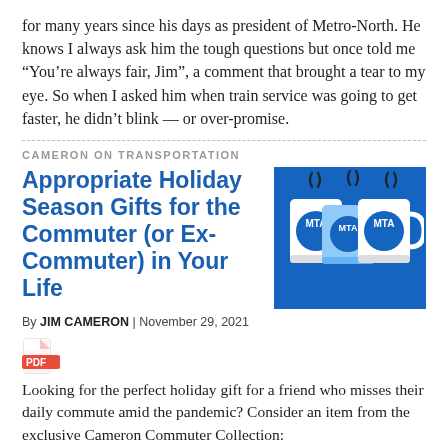for many years since his days as president of Metro-North. He knows I always ask him the tough questions but once told me “You’re always fair, Jim”, a comment that brought a tear to my eye. So when I asked him when train service was going to get faster, he didn’t blink — or over-promise.
CAMERON ON TRANSPORTATION
Appropriate Holiday Season Gifts for the Commuter (or Ex-Commuter) in Your Life
[Figure (photo): Three white MTA coffee mugs with steam rising, on a blue background]
By JIM CAMERON | November 29, 2021
[Figure (other): PDF document icon]
Looking for the perfect holiday gift for a friend who misses their daily commute amid the pandemic? Consider an item from the exclusive Cameron Commuter Collection: